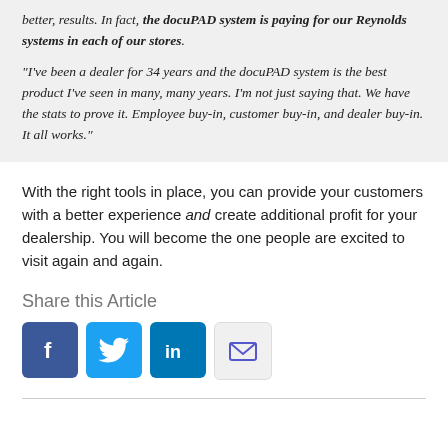better, results. In fact, the docuPAD system is paying for our Reynolds systems in each of our stores.
“I’ve been a dealer for 34 years and the docuPAD system is the best product I’ve seen in many, many years. I’m not just saying that. We have the stats to prove it. Employee buy-in, customer buy-in, and dealer buy-in. It all works.”
With the right tools in place, you can provide your customers with a better experience and create additional profit for your dealership. You will become the one people are excited to visit again and again.
Share this Article
[Figure (infographic): Social share buttons: Facebook (blue), Twitter (light blue), LinkedIn (dark blue), Email (light gray with envelope icon)]